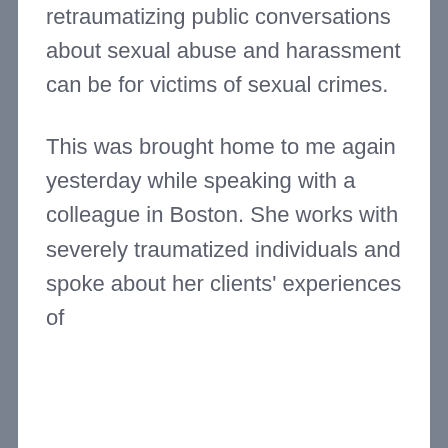retraumatizing public conversations about sexual abuse and harassment can be for victims of sexual crimes.
This was brought home to me again yesterday while speaking with a colleague in Boston. She works with severely traumatized individuals and spoke about her clients' experiences of